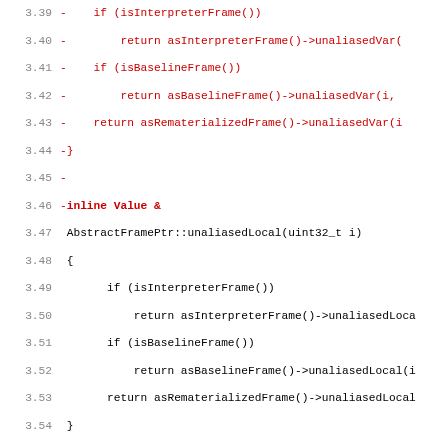Code diff showing AbstractFramePtr methods, lines 3.39-4.16+
[Figure (screenshot): Source code diff view showing removed (red) and added (green/black) lines for AbstractFramePtr class in js/src/vm/Stack.h, with line numbers on the left]